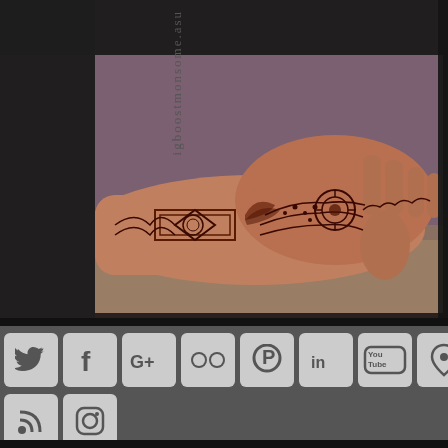[Figure (photo): A hand and forearm decorated with intricate henna/mehndi patterns in dark reddish-brown, showing detailed geometric and floral designs across the back of the hand and wrist.]
igboostmonsome.asu
[Figure (screenshot): Social media icon buttons in a grid: Twitter, Facebook, Google+, Flickr, Pinterest, LinkedIn, YouTube, Location pin, Email/envelope, RSS feed, Instagram]